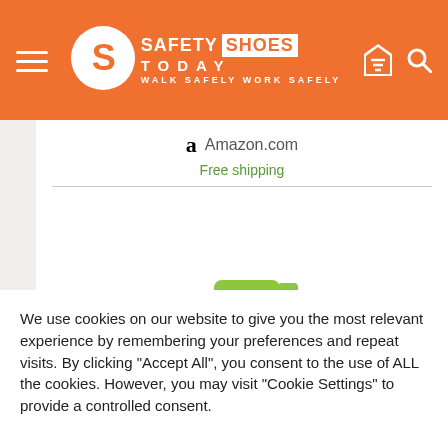Safety Shoes Today — Walk Safely Work Safely
Amazon.com
Free shipping
[Figure (photo): Spray bottle with green trigger top, partial view showing top portion of white bottle with lime-green sprayer nozzle]
We use cookies on our website to give you the most relevant experience by remembering your preferences and repeat visits. By clicking "Accept All", you consent to the use of ALL the cookies. However, you may visit "Cookie Settings" to provide a controlled consent.
Cookie Settings   Accept All